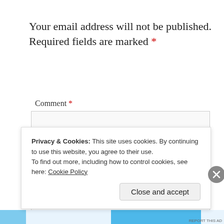Your email address will not be published. Required fields are marked *
Comment *
[Figure (screenshot): Empty comment text area input box]
Privacy & Cookies: This site uses cookies. By continuing to use this website, you agree to their use. To find out more, including how to control cookies, see here: Cookie Policy
Close and accept